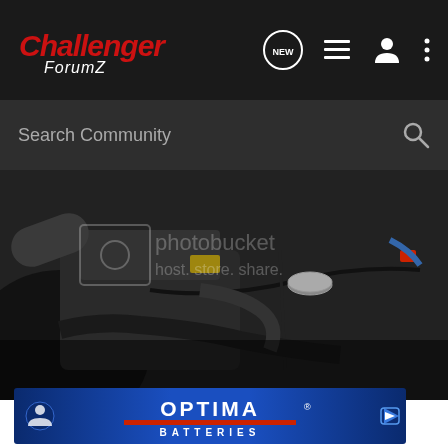Challenger ForumZ navigation bar with logo and icons
Search Community
[Figure (photo): Close-up photo of a car engine bay showing engine components, hoses, cables, and a gray reservoir cap. Image has a Photobucket watermark with text 'photobucket host. store. share.']
[Figure (other): OPTIMA BATTERIES advertisement banner with blue gradient background and white logo text]